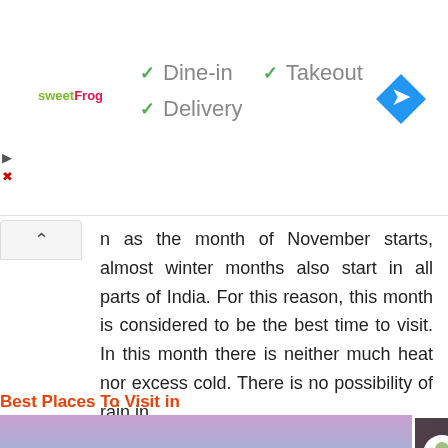[Figure (screenshot): SweetFrog advertisement banner with Dine-in, Takeout, and Delivery check options, and a Google Maps navigation icon in the top right]
n as the month of November starts, almost winter months also start in all parts of India. For this reason, this month is considered to be the best time to visit. In this month there is neither much heat nor excess cold. There is no possibility of rain in ...
Best Places To Visit in
[Figure (photo): Mountain landscape with purple-pink sky and forested hillside]
[Figure (screenshot): YouTube video thumbnail showing Fancy Top Desi... fashion video]